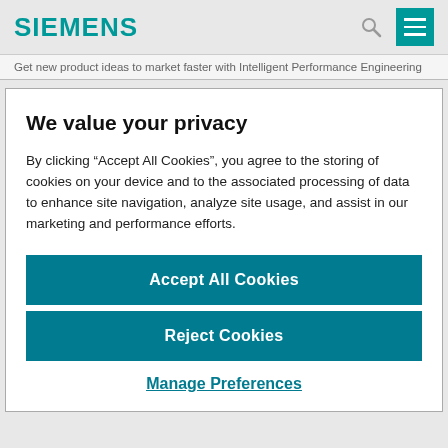SIEMENS
Get new product ideas to market faster with Intelligent Performance Engineering
We value your privacy
By clicking “Accept All Cookies”, you agree to the storing of cookies on your device and to the associated processing of data to enhance site navigation, analyze site usage, and assist in our marketing and performance efforts.
Accept All Cookies
Reject Cookies
Manage Preferences